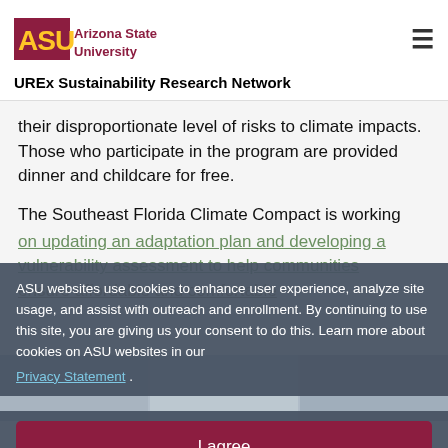ASU Arizona State University | UREx Sustainability Research Network
their disproportionate level of risks to climate impacts. Those who participate in the program are provided dinner and childcare for free.
The Southeast Florida Climate Compact is working on updating an adaptation plan and developing a vulnerability assessment to help communities ensure affordable and comfortable...
ASU websites use cookies to enhance user experience, analyze site usage, and assist with outreach and enrollment. By continuing to use this site, you are giving us your consent to do this. Learn more about cookies on ASU websites in our Privacy Statement .
[Figure (photo): Photo strip showing group of people at bottom of page]